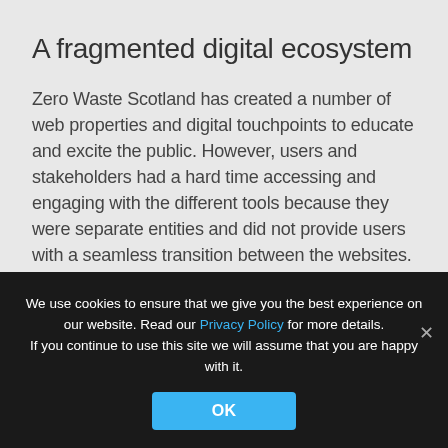A fragmented digital ecosystem
Zero Waste Scotland has created a number of web properties and digital touchpoints to educate and excite the public. However, users and stakeholders had a hard time accessing and engaging with the different tools because they were separate entities and did not provide users with a seamless transition between the websites.
Barriers limiting connection
We use cookies to ensure that we give you the best experience on our website. Read our Privacy Policy for more details. If you continue to use this site we will assume that you are happy with it.